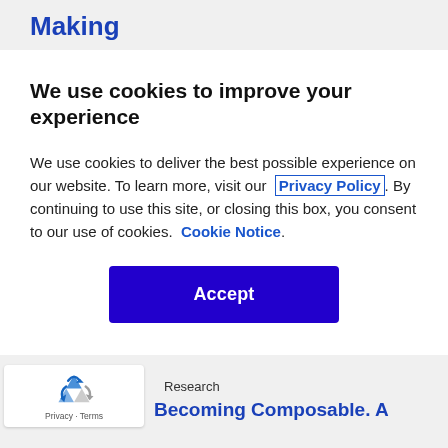Making
We use cookies to improve your experience
We use cookies to deliver the best possible experience on our website. To learn more, visit our Privacy Policy. By continuing to use this site, or closing this box, you consent to our use of cookies. Cookie Notice.
Accept
[Figure (logo): reCAPTCHA logo with recycling arrows]
Privacy · Terms
Research
Becoming Composable. A